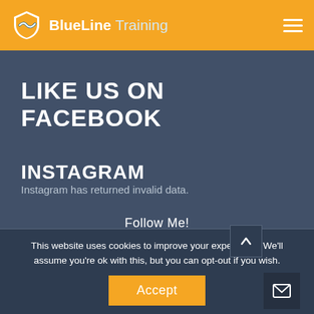Blue Line Training
LIKE US ON FACEBOOK
INSTAGRAM
Instagram has returned invalid data.
Follow Me!
This website uses cookies to improve your experience. We'll assume you're ok with this, but you can opt-out if you wish.
Accept